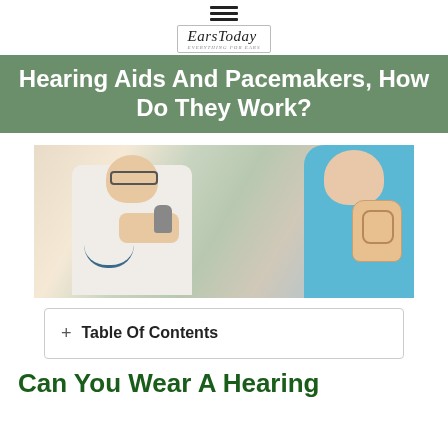EarsToday
Hearing Aids And Pacemakers, How Do They Work?
[Figure (photo): Doctor in white coat holding a hearing aid, showing it to a patient who holds an ear anatomy model. The doctor wears glasses and a stethoscope.]
Table Of Contents
Can You Wear A Hearing